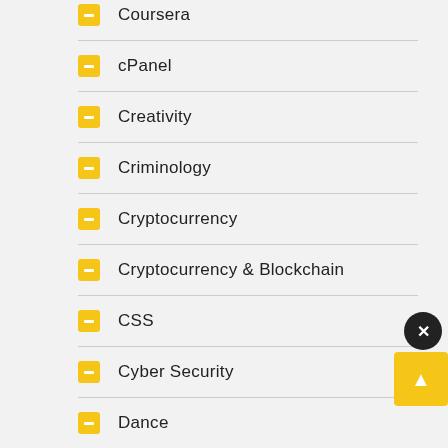Coursera
cPanel
Creativity
Criminology
Cryptocurrency
Cryptocurrency & Blockchain
CSS
Cyber Security
Dance
Dart
Data & Analytics